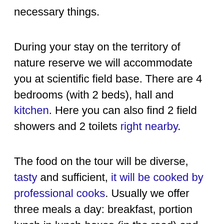necessary things.
During your stay on the territory of nature reserve we will accommodate you at scientific field base. There are 4 bedrooms (with 2 beds), hall and kitchen. Here you can also find 2 field showers and 2 toilets right nearby.
The food on the tour will be diverse, tasty and sufficient, it will be cooked by professional cooks. Usually we offer three meals a day: breakfast, portion lunch in lunch-boxes (in the road) and substantial diner (of four courses). The menu includes cookies